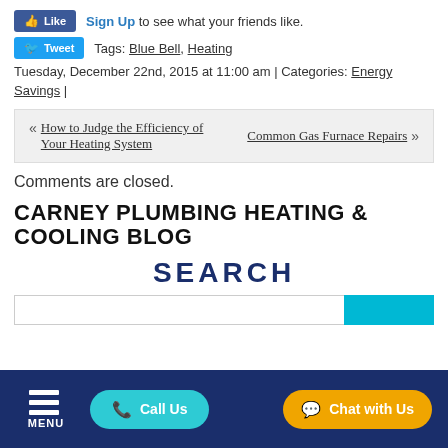Like | Sign Up to see what your friends like.
Tweet | Tags: Blue Bell, Heating
Tuesday, December 22nd, 2015 at 11:00 am | Categories: Energy Savings |
« How to Judge the Efficiency of Your Heating System   Common Gas Furnace Repairs »
Comments are closed.
CARNEY PLUMBING HEATING & COOLING BLOG
SEARCH
MENU  Call Us  Chat with Us